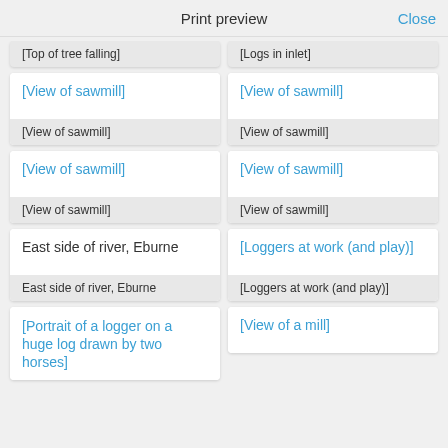Print preview  Close
[Top of tree falling]
[Logs in inlet]
[Figure (other): [View of sawmill]]
[View of sawmill]
[Figure (other): [View of sawmill]]
[View of sawmill]
[Figure (other): [View of sawmill]]
[View of sawmill]
[Figure (other): [View of sawmill]]
[View of sawmill]
East side of river, Eburne
East side of river, Eburne
[Loggers at work (and play)]
[Loggers at work (and play)]
[Portrait of a logger on a huge log drawn by two horses]
[View of a mill]